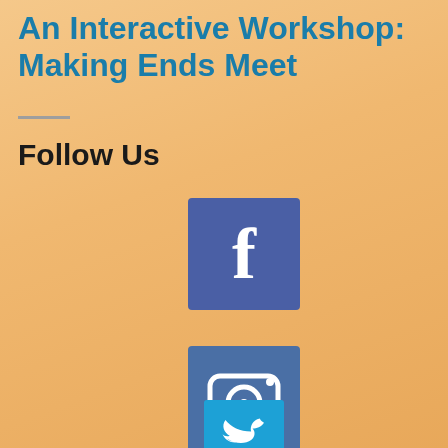An Interactive Workshop: Making Ends Meet
Follow Us
[Figure (logo): Facebook logo icon — blue square with white lowercase letter f]
[Figure (logo): Instagram logo icon — blue square with white camera icon]
[Figure (logo): Twitter logo icon — light blue square with white bird icon]